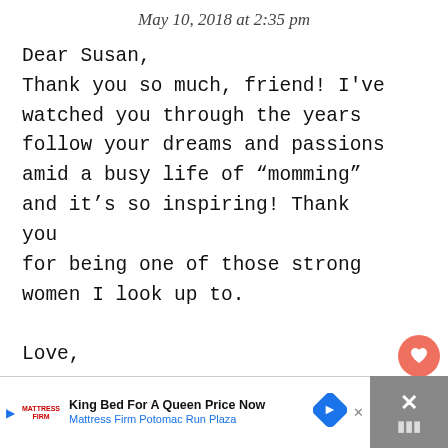May 10, 2018 at 2:35 pm
Dear Susan,
Thank you so much, friend! I've watched you through the years follow your dreams and passions amid a busy life of “momming” and it’s so inspiring! Thank you for being one of those strong women I look up to.
Love,
Kristen
[Figure (other): Heart (like) button icon, orange circle with white heart]
[Figure (other): Share button icon, white circle with share symbol]
[Figure (other): Advertisement banner: King Bed For A Queen Price Now, Mattress Firm Potomac Run Plaza, with logo and navigation arrow. Dark panel on right with X close button.]